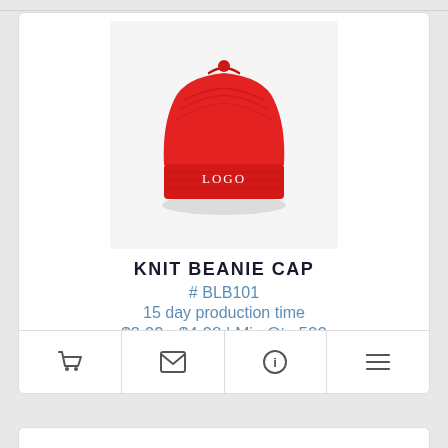[Figure (photo): Red knit beanie cap with white embroidered LOGO text on the cuff, displayed on a light gray background]
KNIT BEANIE CAP
# BLB101
15 day production time
$2.09 - $4.08 | Min Qty 500